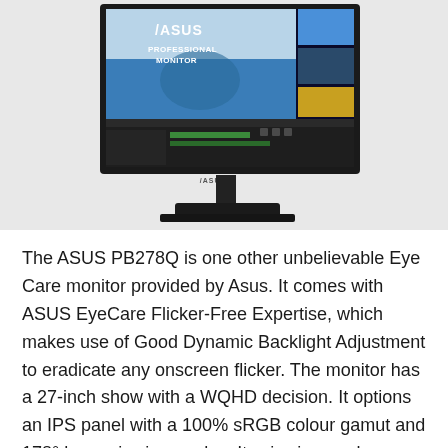[Figure (photo): ASUS PB278Q professional monitor displayed on a stand, showing a skiing action photo and video editing software on screen, with ASUS logo and 'PROFESSIONAL MONITOR' text visible on the display.]
The ASUS PB278Q is one other unbelievable Eye Care monitor provided by Asus. It comes with ASUS EyeCare Flicker-Free Expertise, which makes use of Good Dynamic Backlight Adjustment to eradicate any onscreen flicker. The monitor has a 27-inch show with a WQHD decision. It options an IPS panel with a 100% sRGB colour gamut and 178° large viewing angles. Its viewing angle